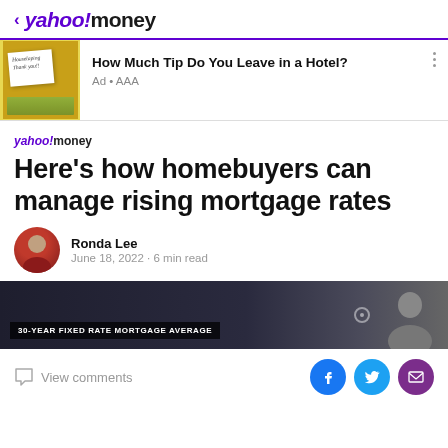< yahoo!money
[Figure (screenshot): Ad banner with image of hotel tip note card. Title: How Much Tip Do You Leave in a Hotel? Ad • AAA]
[Figure (logo): yahoo!money small logo]
Here's how homebuyers can manage rising mortgage rates
Ronda Lee
June 18, 2022 · 6 min read
[Figure (screenshot): Video thumbnail showing '30-YEAR FIXED RATE MORTGAGE AVERAGE' lower-third graphic with dark background and partial figure silhouette on right]
View comments